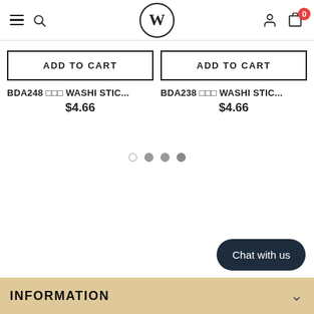W (logo) — navigation header with menu, search, account, cart (0)
ADD TO CART — BDA248 ??? WASHI STIC... $4.66
ADD TO CART — BDA238 ??? WASHI STIC... $4.66
[Figure (other): Carousel pagination dots: 4 dots, first empty/outline, dots 2-3-4 filled grey]
Chat with us
INFORMATION